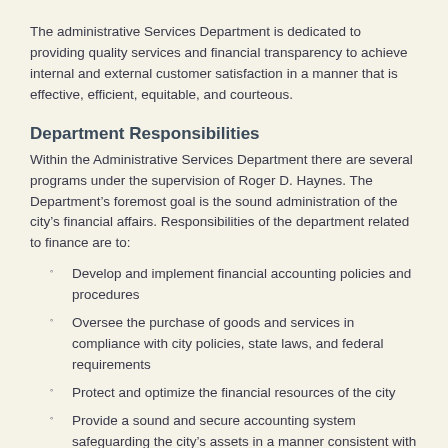The administrative Services Department is dedicated to providing quality services and financial transparency to achieve internal and external customer satisfaction in a manner that is effective, efficient, equitable, and courteous.
Department Responsibilities
Within the Administrative Services Department there are several programs under the supervision of Roger D. Haynes. The Department’s foremost goal is the sound administration of the city’s financial affairs. Responsibilities of the department related to finance are to:
Develop and implement financial accounting policies and procedures
Oversee the purchase of goods and services in compliance with city policies, state laws, and federal requirements
Protect and optimize the financial resources of the city
Provide a sound and secure accounting system safeguarding the city’s assets in a manner consistent with Generally Accepted Accounting Principles (GAAP), Governmental Accounting Standards Board (GASB) recommendations, and legally mandated standards
Compile and present an annual financial report meeting the